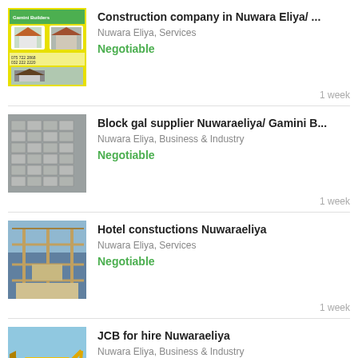[Figure (photo): Construction company thumbnail with Gamini Builders logo, yellow background, building images]
Construction company in Nuwara Eliya/ ...
Nuwara Eliya, Services
Negotiable
1 week
[Figure (photo): Block gal supplier listing - concrete blocks stacked]
Block gal supplier Nuwaraeliya/ Gamini B...
Nuwara Eliya, Business & Industry
Negotiable
1 week
[Figure (photo): Hotel construction site with scaffolding]
Hotel constuctions Nuwaraeliya
Nuwara Eliya, Services
Negotiable
1 week
[Figure (photo): JCB yellow excavator/backhoe loader]
JCB for hire Nuwaraeliya
Nuwara Eliya, Business & Industry
Negotiable
1 week